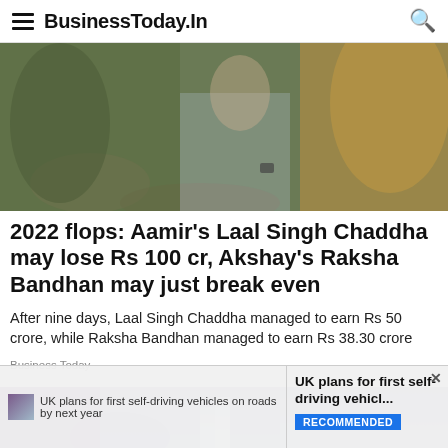BusinessToday.In
[Figure (photo): Two people outdoors, one wearing a plaid shirt with a watch, another with dark curly hair wearing an orange/yellow outfit, among trees and rocks.]
2022 flops: Aamir’s Laal Singh Chaddha may lose Rs 100 cr, Akshay’s Raksha Bandhan may just break even
After nine days, Laal Singh Chaddha managed to earn Rs 50 crore, while Raksha Bandhan managed to earn Rs 38.30 crore
Business Today
[Figure (photo): A vehicle or car-related image with purple and light blue tones, related to self-driving vehicles article.]
UK plans for first self-driving vehicles on roads by next year
UK plans for first self-driving vehicl...
RECOMMENDED